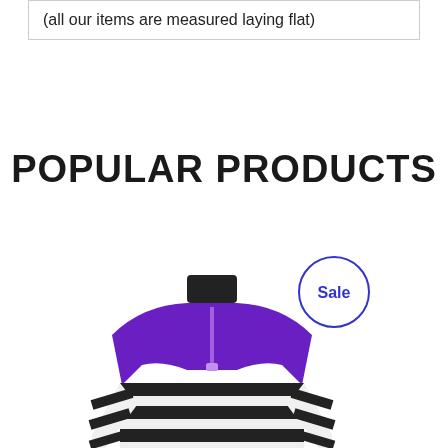(all our items are measured laying flat)
POPULAR PRODUCTS
[Figure (photo): Purple and white striped half-zip sweater on a mannequin, with a 'Sale' badge circle overlay in blue]
Sale